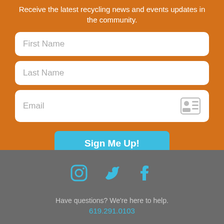Receive the latest recycling news and events updates in the community.
[Figure (screenshot): Web form with First Name, Last Name, and Email input fields on an orange background, with a 'Sign Me Up!' button in teal/blue.]
[Figure (infographic): Social media icons for Instagram, Twitter, and Facebook in teal/cyan color on a gray background.]
Have questions? We're here to help.
619.291.0103